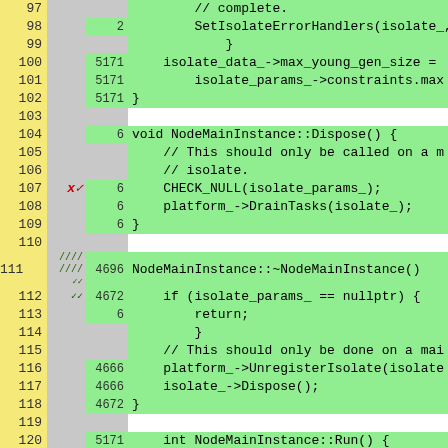[Figure (screenshot): Code coverage viewer showing C++ source lines 97-120 with line numbers in yellow column, annotation/checkmark column in gray, hit-count column in gray, and code content in green (covered) or white (uncovered) background. Code shows NodeMainInstance methods including Dispose() and destructor ~NodeMainInstance().]